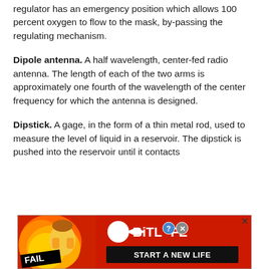regulator has an emergency position which allows 100 percent oxygen to flow to the mask, by-passing the regulating mechanism.
Dipole antenna. A half wavelength, center-fed radio antenna. The length of each of the two arms is approximately one fourth of the wavelength of the center frequency for which the antenna is designed.
Dipstick. A gage, in the form of a thin metal rod, used to measure the level of liquid in a reservoir. The dipstick is pushed into the reservoir until it contacts
[Figure (other): Advertisement banner for BitLife mobile game showing 'FAIL' text, animated character, flames, BitLife logo with sperm icon, question mark and X buttons, and 'START A NEW LIFE' button on black background.]